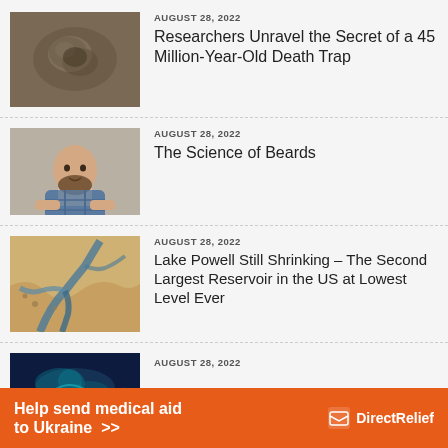[Figure (photo): Close-up photo of a fossil or rock with ancient organism impression, brownish tones]
AUGUST 28, 2022
Researchers Unravel the Secret of a 45 Million-Year-Old Death Trap
[Figure (photo): Man with beard smiling with arms crossed, wearing plaid shirt, gray background]
AUGUST 28, 2022
The Science of Beards
[Figure (photo): Aerial satellite view of Lake Powell showing water channels through dry desert terrain]
AUGUST 28, 2022
Lake Powell Still Shrinking – The Second Largest Reservoir in the US at Lowest Level Ever
[Figure (photo): Dark blue abstract or scientific image, partially visible]
AUGUST 28, 2022
Help send medical aid to Ukraine >>
[Figure (logo): DirectRelief logo with envelope icon on orange banner]